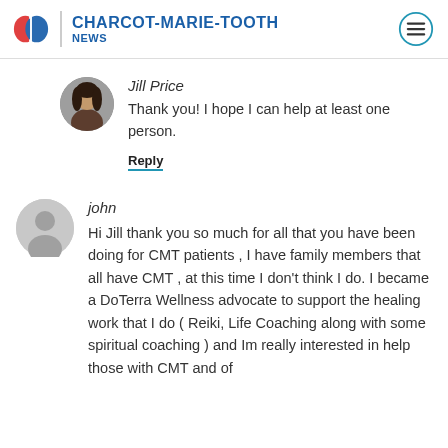CHARCOT-MARIE-TOOTH NEWS
Jill Price
Thank you! I hope I can help at least one person.
Reply
john
Hi Jill thank you so much for all that you have been doing for CMT patients , I have family members that all have CMT , at this time I don't think I do. I became a DoTerra Wellness advocate to support the healing work that I do ( Reiki, Life Coaching along with some spiritual coaching ) and Im really interested in help those with CMT and of